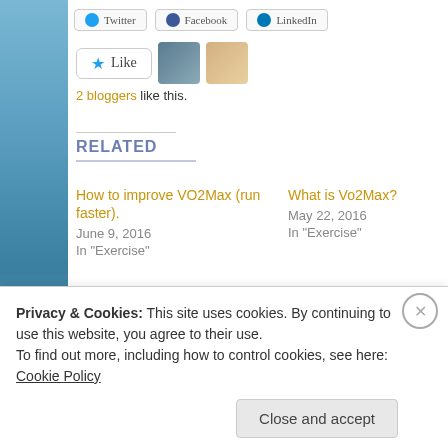[Figure (screenshot): Social share buttons: Twitter, Facebook, LinkedIn]
[Figure (screenshot): Like button with star icon and two user avatar thumbnails]
2 bloggers like this.
RELATED
How to improve VO2Max (run faster).
June 9, 2016
In "Exercise"
What is Vo2Max?
May 22, 2016
In "Exercise"
The principle of specificity
September 26, 2016
Privacy & Cookies: This site uses cookies. By continuing to use this website, you agree to their use.
To find out more, including how to control cookies, see here: Cookie Policy